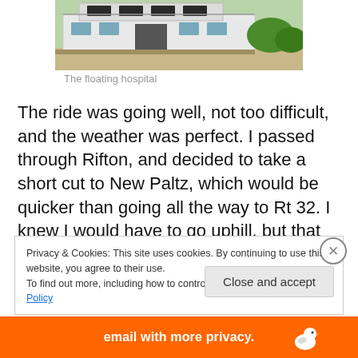[Figure (photo): A white houseboat or floating structure moored near a grassy riverbank, photographed from the exterior.]
The floating hospital
The ride was going well, not too difficult, and the weather was perfect. I passed through Rifton, and decided to take a short cut to New Paltz, which would be quicker than going all the way to Rt 32. I knew I would have to go uphill, but that did not bother me, as I'd stay on the ridge, and my apartment in New Paltz is somewhat on a hill.
Privacy & Cookies: This site uses cookies. By continuing to use this website, you agree to their use.
To find out more, including how to control cookies, see here: Cookie Policy
Close and accept
[Figure (screenshot): Bottom advertisement banner in orange with text 'email with more privacy.' and a duck logo.]